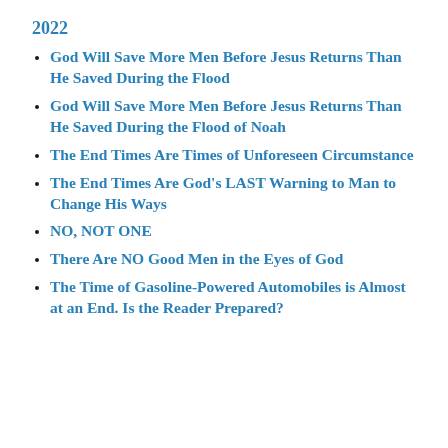2022
God Will Save More Men Before Jesus Returns Than He Saved During the Flood
God Will Save More Men Before Jesus Returns Than He Saved During the Flood of Noah
The End Times Are Times of Unforeseen Circumstance
The End Times Are God's LAST Warning to Man to Change His Ways
NO, NOT ONE
There Are NO Good Men in the Eyes of God
The Time of Gasoline-Powered Automobiles is Almost at an End. Is the Reader Prepared?